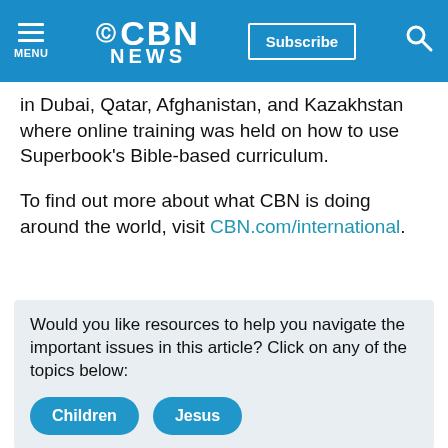MENU | CBN NEWS | Subscribe | [search icon]
in Dubai, Qatar, Afghanistan, and Kazakhstan where online training was held on how to use Superbook's Bible-based curriculum.
To find out more about what CBN is doing around the world, visit CBN.com/international.
Would you like resources to help you navigate the important issues in this article? Click on any of the topics below:
Children
Jesus
Need prayer? We're available 24/7. Call (800)